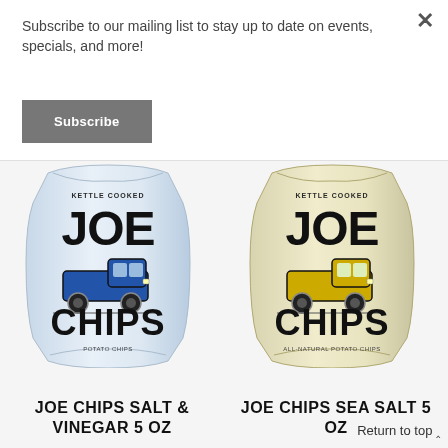Subscribe to our mailing list to stay up to date on events, specials, and more!
Subscribe
×
[Figure (photo): Joe Chips Salt & Vinegar 5 oz bag with blue truck illustration on light blue/white background]
[Figure (photo): Joe Chips Sea Salt 5 oz bag with yellow truck illustration on cream/white background]
JOE CHIPS SALT & VINEGAR 5 OZ
JOE CHIPS SEA SALT 5 OZ
Return to top ^